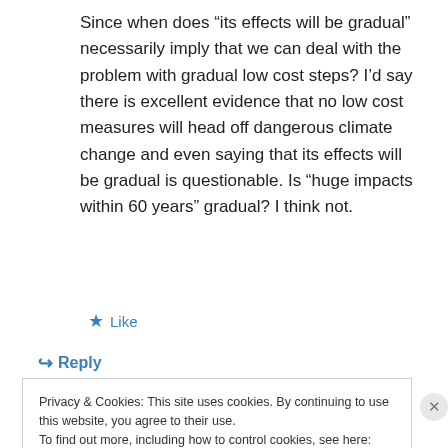Since when does “its effects will be gradual” necessarily imply that we can deal with the problem with gradual low cost steps? I’d say there is excellent evidence that no low cost measures will head off dangerous climate change and even saying that its effects will be gradual is questionable. Is “huge impacts within 60 years” gradual? I think not.
★ Like
↪ Reply
Privacy & Cookies: This site uses cookies. By continuing to use this website, you agree to their use.
To find out more, including how to control cookies, see here: Cookie Policy